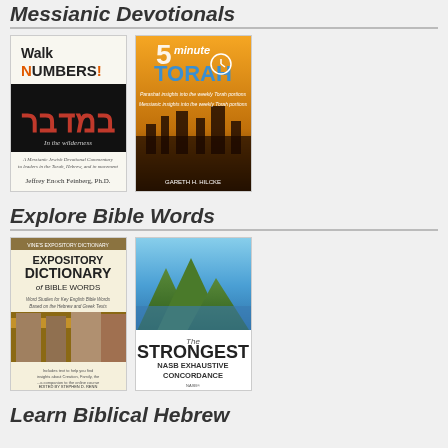Messianic Devotionals
[Figure (illustration): Book cover: Walk Numbers! by Jeffrey Enoch Feinberg, Ph.D. — Messianic Jewish Devotional Commentary]
[Figure (illustration): Book cover: 5 Minute Torah by Gareth H. Hilcke — cityscape background]
Explore Bible Words
[Figure (illustration): Book cover: Expository Dictionary of Bible Words — Word Studies for Key English Bible Words Based on the Hebrew and Greek Texts, edited by Stephen D. Renn]
[Figure (illustration): Book cover: The Strongest NASB Exhaustive Concordance — mountains and lake background, NASB logo]
Learn Biblical Hebrew